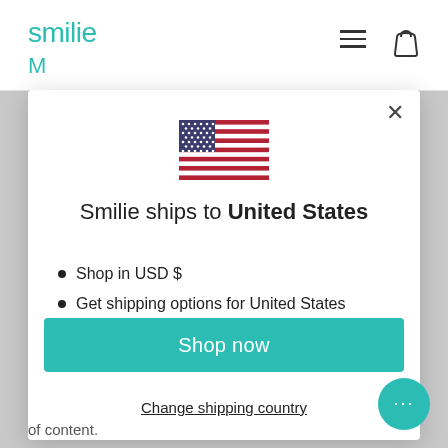smilie
[Figure (screenshot): Modal dialog showing US flag, shipping info for United States, Shop now button, and Change shipping country link on a smilie.com website]
Smilie ships to United States
Shop in USD $
Get shipping options for United States
Shop now
Change shipping country
of content.